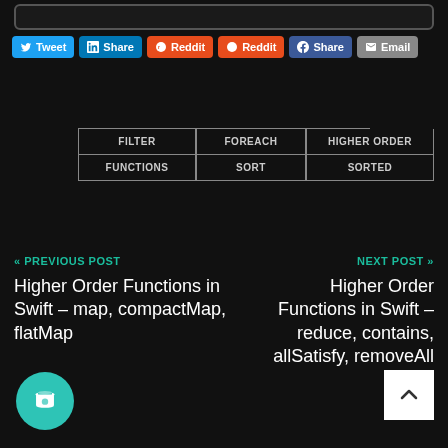[Figure (screenshot): Top input/search bar outline]
[Figure (infographic): Social share buttons: Tweet, Share (LinkedIn), Reddit, Reddit, Share (Facebook), Email]
FILTER
FOREACH
HIGHER ORDER
FUNCTIONS
SORT
SORTED
« PREVIOUS POST
Higher Order Functions in Swift – map, compactMap, flatMap
NEXT POST »
Higher Order Functions in Swift – reduce, contains, allSatisfy, removeAll
[Figure (illustration): Buy me a coffee circular button (teal)]
[Figure (illustration): Scroll to top button (white square with caret)]